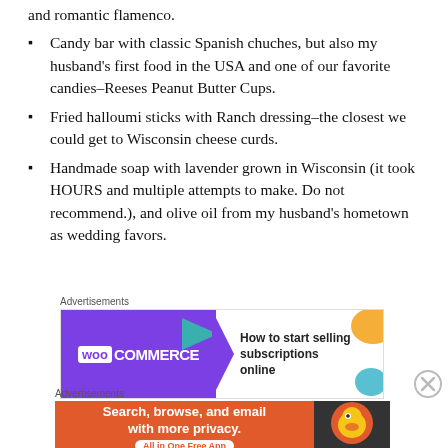and romantic flamenco.
Candy bar with classic Spanish chuches, but also my husband's first food in the USA and one of our favorite candies–Reeses Peanut Butter Cups.
Fried halloumi sticks with Ranch dressing–the closest we could get to Wisconsin cheese curds.
Handmade soap with lavender grown in Wisconsin (it took HOURS and multiple attempts to make. Do not recommend.), and olive oil from my husband's hometown as wedding favors.
[Figure (infographic): WooCommerce advertisement: purple background with WooCommerce logo and text 'How to start selling subscriptions online', teal arrow graphic.]
[Figure (infographic): DuckDuckGo advertisement: orange background with text 'Search, browse, and email with more privacy. All in One Free App' and DuckDuckGo logo on dark background.]